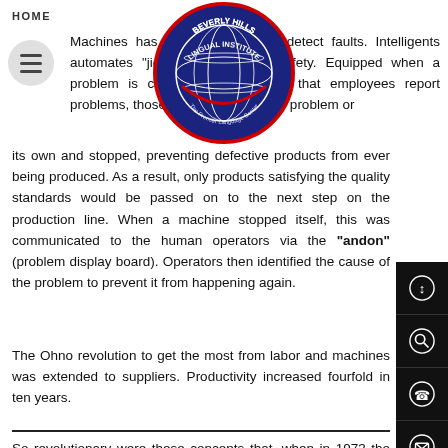HOME
[Figure (logo): Beverly Hills Lingual Institute circular logo with globe and text 'The Premier Language Center']
Machines has the intelligence to detect faults. Intelligence automates "jidoka" — machine safety. Equipped when a problem is discovered. It requires that employees report problems, those who discovered the problem or its own and stopped, preventing defective products from ever being produced. As a result, only products satisfying the quality standards would be passed on to the next step on the production line. When a machine stopped itself, this was communicated to the human operators via the "andon" (problem display board). Operators then identified the cause of the problem to prevent it from happening again.

The Ohno revolution to get the most from labor and machines was extended to suppliers. Productivity increased fourfold in ten years.
So revolutionary were these concepts that, when in 1973 the gas crisis severely crippled automakers